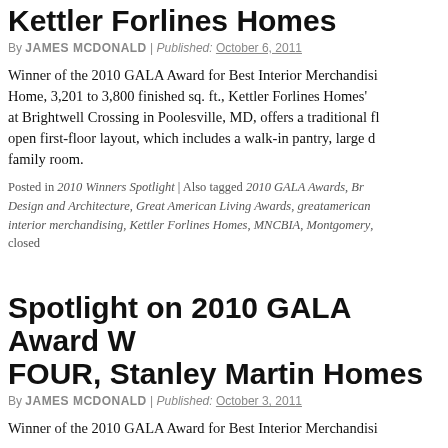Kettler Forlines Homes
By JAMES MCDONALD | Published: OCTOBER 6, 2011
Winner of the 2010 GALA Award for Best Interior Merchandising Home, 3,201 to 3,800 finished sq. ft., Kettler Forlines Homes' at Brightwell Crossing in Poolesville, MD, offers a traditional fl open first-floor layout, which includes a walk-in pantry, large d family room.
Posted in 2010 Winners Spotlight | Also tagged 2010 GALA Awards, Br Design and Architecture, Great American Living Awards, greatamerican interior merchandising, Kettler Forlines Homes, MNCBIA, Montgomery, closed
Spotlight on 2010 GALA Award W FOUR, Stanley Martin Homes
By JAMES MCDONALD | Published: OCTOBER 3, 2011
Winner of the 2010 GALA Award for Best Interior Merchandisi